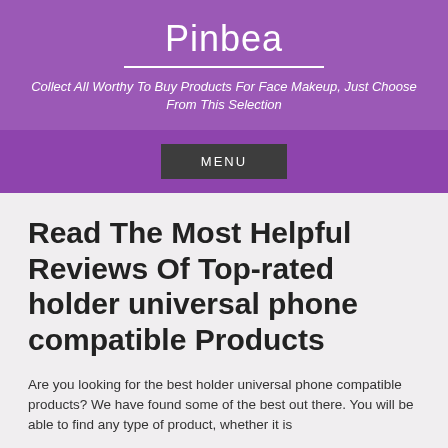Pinbea
Collect All Worthy To Buy Products For Face Makeup, Just Choose From This Selection
MENU
Read The Most Helpful Reviews Of Top-rated holder universal phone compatible Products
Are you looking for the best holder universal phone compatible products? We have found some of the best out there. You will be able to find any type of product, whether it is